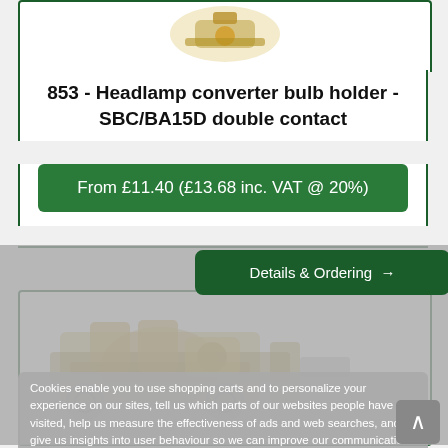[Figure (photo): Product photo of headlamp converter bulb holder at top of page]
853 - Headlamp converter bulb holder - SBC/BA15D double contact
From £11.40 (£13.68 inc. VAT @ 20%)
[Figure (other): Details & Ordering button with arrow]
[Figure (photo): Second product photo of headlamp converter bulb holder (metal bracket type)]
Cookies enable you to use shopping carts and to personalize your experience on our sites, tell us which parts of our websites people have visited, help us measure the effectiveness of ads and web searches, and give us insights into user behaviour so we can improve our communications and products.
Accept cookies
Customize cookies